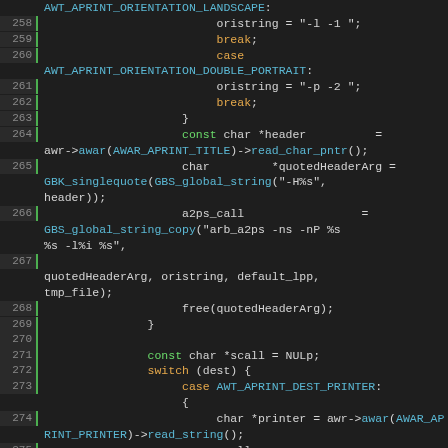Source code listing lines 258-278, C++ code for AWT print orientation handling